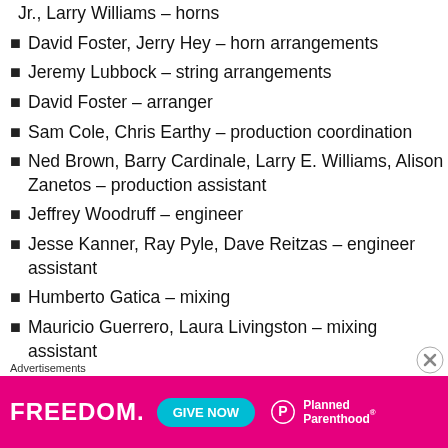Jr., Larry Williams – horns
David Foster, Jerry Hey – horn arrangements
Jeremy Lubbock – string arrangements
David Foster – arranger
Sam Cole, Chris Earthy – production coordination
Ned Brown, Barry Cardinale, Larry E. Williams, Alison Zanetos – production assistant
Jeffrey Woodruff – engineer
Jesse Kanner, Ray Pyle, Dave Reitzas – engineer assistant
Humberto Gatica – mixing
Mauricio Guerrero, Laura Livingston – mixing assistant
George Marino – mastering
David Kirschner – art direction, design
Advertisements
[Figure (infographic): Planned Parenthood advertisement banner: pink background with 'FREEDOM.' in white bold text, a cyan 'GIVE NOW' button, and the Planned Parenthood logo in white.]